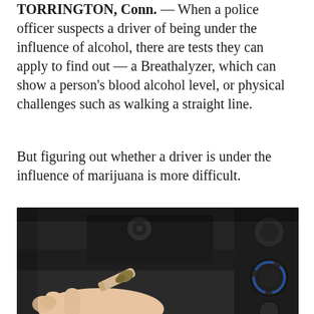TORRINGTON, Conn. — When a police officer suspects a driver of being under the influence of alcohol, there are tests they can apply to find out — a Breathalyzer, which can show a person's blood alcohol level, or physical challenges such as walking a straight line.
But figuring out whether a driver is under the influence of marijuana is more difficult.
[Figure (photo): Close-up photo of a person's hand holding a marijuana joint in front of a car dashboard with dark climate control knobs visible in the background.]